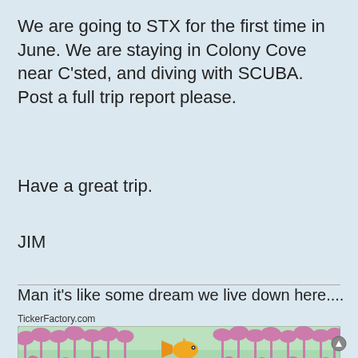We are going to STX for the first time in June. We are staying in Colony Cove near C'sted, and diving with SCUBA. Post a full trip report please.
Have a great trip.
JIM
Man it's like some dream we live down here....
[Figure (infographic): TickerFactory.com ticker image showing a goldfish at position 06 on a scale of 01-10 with palm tree background. Text reads: 6 years 2 months 2 days since Dive the STX Wall]